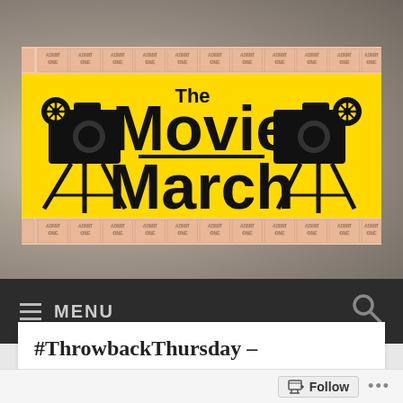[Figure (logo): The Movie March logo on yellow banner with film cameras and admit one tickets as film strip borders]
MENU
#ThrowbackThursday –